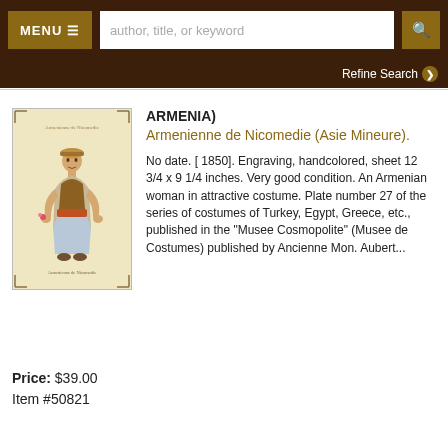MENU ≡   author, title, or keyword   🔍   Refine Search ❯
[Figure (illustration): Hand-colored engraving of an Armenian woman in traditional costume, depicted in a decorative border frame.]
ARMENIA)
Armenienne de Nicomedie (Asie Mineure).
No date. [ 1850]. Engraving, handcolored, sheet 12 3/4 x 9 1/4 inches. Very good condition. An Armenian woman in attractive costume. Plate number 27 of the series of costumes of Turkey, Egypt, Greece, etc., published in the "Musee Cosmopolite" (Musee de Costumes) published by Ancienne Mon. Aubert...
Price: $39.00
Item #50821